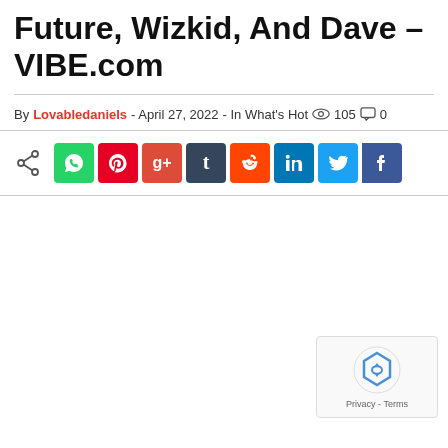Future, Wizkid, And Dave – VIBE.com
By Lovabledaniels - April 27, 2022 - In What's Hot  105  0
[Figure (infographic): Social media share buttons row: WhatsApp, Pinterest, Google+, Tumblr, Reddit, LinkedIn, Twitter, Facebook]
[Figure (other): reCAPTCHA privacy badge with spinning logo and Privacy - Terms text]